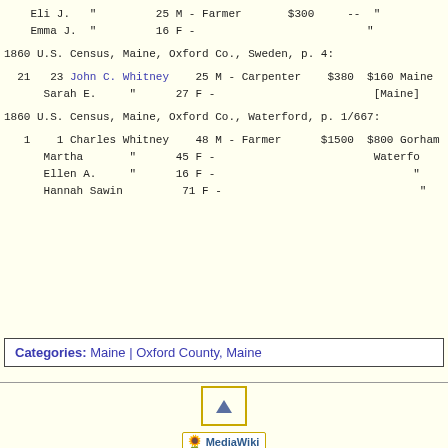| Eli J. | " | 25 M - Farmer | $300 | -- | " |
| Emma J. | " | 16 F - |  |  | " |
1860 U.S. Census, Maine, Oxford Co., Sweden, p. 4:
| 21 | 23 | John C. Whitney | 25 M - Carpenter | $380 | $160 | Maine |
|  |  | Sarah E. | " | 27 F - |  | [Maine] |
1860 U.S. Census, Maine, Oxford Co., Waterford, p. 1/667:
| 1 | 1 | Charles Whitney | 48 M - Farmer | $1500 | $800 | Gorham |
|  |  | Martha | " | 45 F - |  | Waterfo |
|  |  | Ellen A. | " | 16 F - |  | " |
|  |  | Hannah Sawin |  | 71 F - |  | " |
Categories:  Maine | Oxford County, Maine
This page was last edited on 7 July 2015, at 14:57.  Privacy policy  About  WRG  Disclaimers